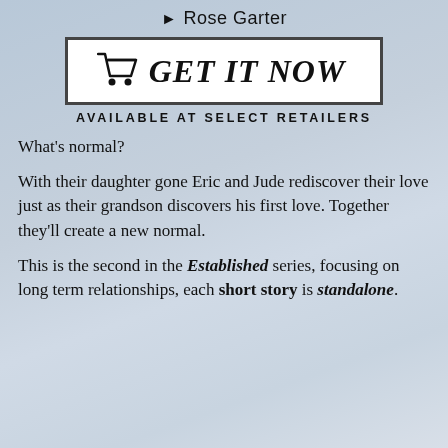Rose Garter
[Figure (other): GET IT NOW button with shopping cart icon, white background with dark border]
AVAILABLE AT SELECT RETAILERS
What's normal?
With their daughter gone Eric and Jude rediscover their love just as their grandson discovers his first love. Together they'll create a new normal.
This is the second in the Established series, focusing on long term relationships, each short story is standalone.